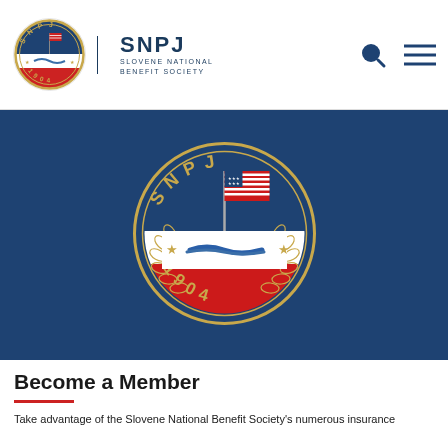SNPJ - SLOVENE NATIONAL BENEFIT SOCIETY
[Figure (logo): SNPJ Slovene National Benefit Society circular emblem with American flag, handshake, laurel wreath, stars, and the year 1904 on a dark blue background]
Become a Member
Take advantage of the Slovene National Benefit Society's numerous insurance